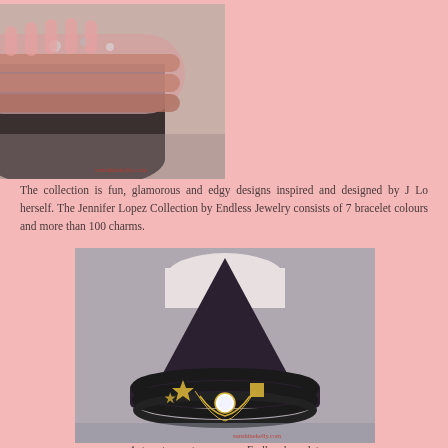[Figure (photo): Photo of pink bracelets with charms displayed on a dark jewelry stand, with long pink fingernails visible. Watermark reads 'sunshinekelly.com'.]
The collection is fun, glamorous and edgy designs inspired and designed by J Lo herself. The Jennifer Lopez Collection by Endless Jewelry consists of 7 bracelet colours and more than 100 charms.
[Figure (photo): Photo of dark/black bracelets with gold star and diamond charms displayed on a dark cone-shaped jewelry stand. Watermark reads 'sunshinekelly.com'.]
4 steps to create your own Endless bracelet